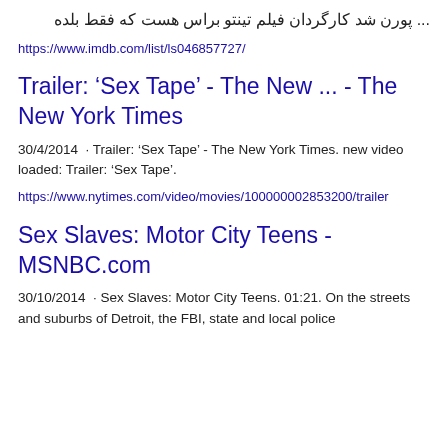... پورن شد کارگردان فیلم تینتو براس هست که فقط بلده
https://www.imdb.com/list/ls046857727/
Trailer: ‘Sex Tape’ - The New ... - The New York Times
30/4/2014  · Trailer: ‘Sex Tape’ - The New York Times. new video loaded: Trailer: ‘Sex Tape’.
https://www.nytimes.com/video/movies/100000002853200/trailer
Sex Slaves: Motor City Teens - MSNBC.com
30/10/2014  · Sex Slaves: Motor City Teens. 01:21. On the streets and suburbs of Detroit, the FBI, state and local police